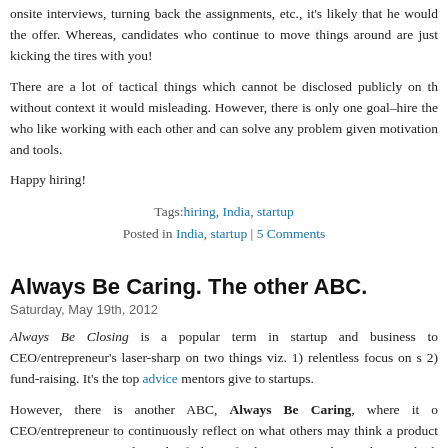onsite interviews, turning back the assignments, etc., it's likely that he would decline the offer. Whereas, candidates who continue to move things around are just kicking the tires with you!
There are a lot of tactical things which cannot be disclosed publicly on the blog without context it would misleading. However, there is only one goal–hire the people who like working with each other and can solve any problem given motivation and tools.
Happy hiring!
Tags: hiring, India, startup
Posted in India, startup | 5 Comments
Always Be Caring. The other ABC.
Saturday, May 19th, 2012
Always Be Closing is a popular term in startup and business to keep CEO/entrepreneur's laser-sharp on two things viz. 1) relentless focus on sales and 2) fund-raising. It's the top advice mentors give to startups.
However, there is another ABC, Always Be Caring, where it compels CEO/entrepreneur to continuously reflect on what others may think about the product or company. Caring about the feeling of others, caring about what customers think about the product, caring whether people are getting value from deliverables.